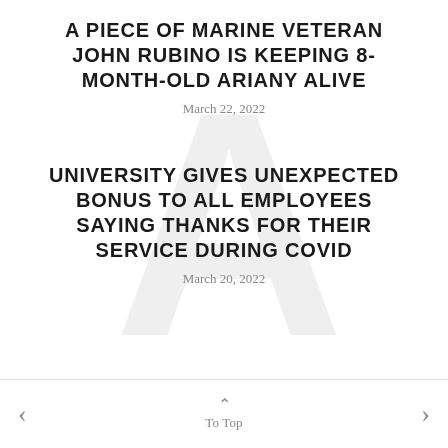A PIECE OF MARINE VETERAN JOHN RUBINO IS KEEPING 8-MONTH-OLD ARIANY ALIVE
March 22, 2022
UNIVERSITY GIVES UNEXPECTED BONUS TO ALL EMPLOYEES SAYING THANKS FOR THEIR SERVICE DURING COVID
March 20, 2022
< To Top >